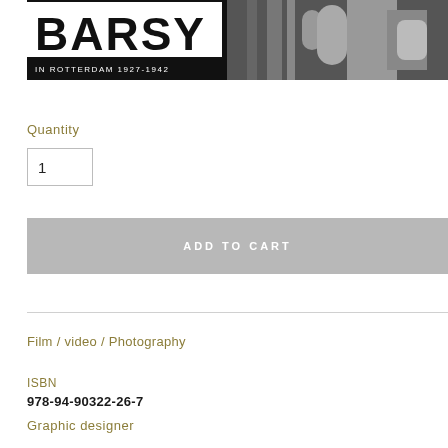[Figure (photo): Book cover image showing 'BARSY IN ROTTERDAM 1927-1942' with black background and grayscale photograph]
Quantity
1
ADD TO CART
Film / video / Photography
ISBN
978-94-90322-26-7
Graphic designer